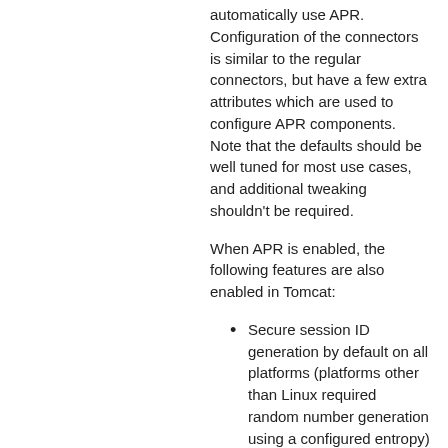automatically use APR. Configuration of the connectors is similar to the regular connectors, but have a few extra attributes which are used to configure APR components. Note that the defaults should be well tuned for most use cases, and additional tweaking shouldn't be required.
When APR is enabled, the following features are also enabled in Tomcat:
Secure session ID generation by default on all platforms (platforms other than Linux required random number generation using a configured entropy)